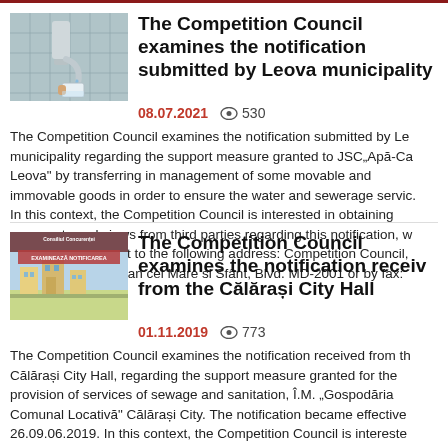[Figure (photo): Photo of water tap/faucet with water running into a glass]
The Competition Council examines the notification submitted by Leova municipality
08.07.2021  👁 530
The Competition Council examines the notification submitted by Leova municipality regarding the support measure granted to JSC„Apă-Ca Leova" by transferring in management of some movable and immovable goods in order to ensure the water and sewerage servic. In this context, the Competition Council is interested in obtaining comments and views from third parties regarding this notification, w may be sent by post to the following address: Competition Council, Chisinau, 73/1, Stefan cel Mare si Sfânt, Blvd. MD-2001 or by fax:
[Figure (photo): Image with text Consiliul Concurentei EXAMINEAZĂ NOTIFICAREA with illustrated buildings/city]
The Competition Council examines the notification received from the Călărași City Hall
01.11.2019  👁 773
The Competition Council examines the notification received from the Călărași City Hall, regarding the support measure granted for the provision of services of sewage and sanitation, Î.M. „Gospodăria Comunal Locativă" Călărași City. The notification became effective 26.09.06.2019. In this context, the Competition Council is intereste